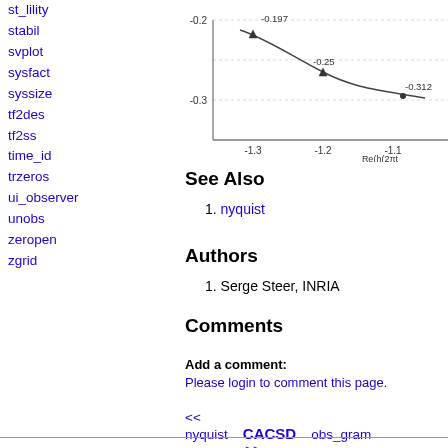st_lility
stabil
svplot
sysfact
syssize
tf2des
tf2ss
time_id
trzeros
ui_observer
unobs
zeropen
zgrid
[Figure (continuous-plot): Partial Nyquist plot showing a curve with labeled points at -0.197, -0.25, and -0.312 on the imaginary axis, x-axis labeled Re(h(2πt) with values from -1.3 to -1.1, y-axis from -0.3 to -0.2]
See Also
nyquist
Authors
Serge Steer, INRIA
Comments
Add a comment:
Please login to comment this page.
<< nyquist   CACSD   obs_gram >>